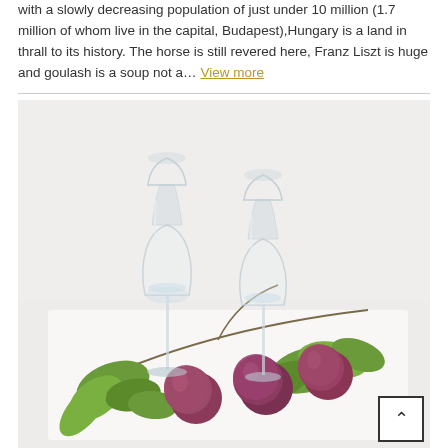with a slowly decreasing population of just under 10 million (1.7 million of whom live in the capital, Budapest), Hungary is a land in thrall to its history. The horse is still revered here, Franz Liszt is huge and goulash is a soup not a... View more
[Figure (photo): Two tall crystal grappa/spirit glasses with a twig of red plums and green leaves arranged on a white wooden surface against a white background.]